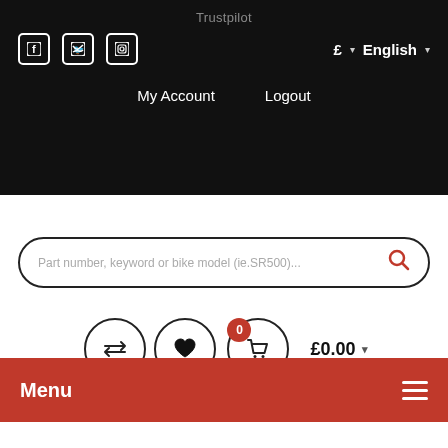Trustpilot
£  English
My Account  Logout
Part number, keyword or bike model (ie.SR500)...
£0.00
Menu